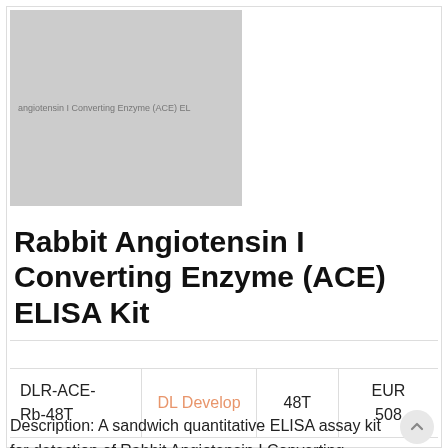[Figure (photo): Gray placeholder image for the Rabbit Angiotensin I Converting Enzyme (ACE) ELISA Kit product, with small label text visible]
Rabbit Angiotensin I Converting Enzyme (ACE) ELISA Kit
| SKU | Brand | Size | Price |
| --- | --- | --- | --- |
| DLR-ACE-Rb-48T | DL Develop | 48T | EUR 508 |
Description: A sandwich quantitative ELISA assay kit for detection of Rabbit Angiotensin I Converting Enzyme (ACE)